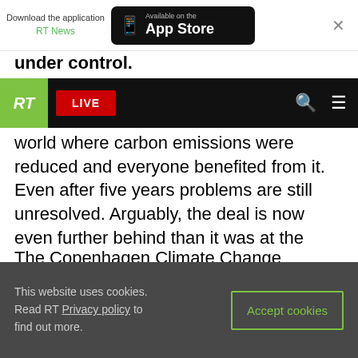Download the application RT News | Available on the App Store
under control.
RT LIVE
world where carbon emissions were reduced and everyone benefited from it. Even after five years problems are still unresolved. Arguably, the deal is now even further behind than it was at the opening stages.
The Copenhagen Climate Change Conference in December 2009, where a new deal on climate change was supposed to be signed, also turned out fruitless.
This website uses cookies. Read RT Privacy policy to find out more. Accept cookies